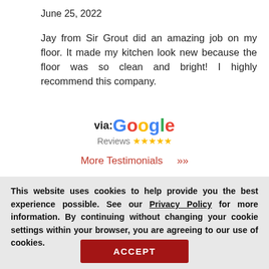June 25, 2022
Jay from Sir Grout did an amazing job on my floor. It made my kitchen look new because the floor was so clean and bright! I highly recommend this company.
[Figure (logo): via: Google Reviews with 5 gold stars]
More Testimonials >>
[Figure (screenshot): Request a Free button with close icon and pink circle partially visible]
This website uses cookies to help provide you the best experience possible. See our Privacy Policy for more information. By continuing without changing your cookie settings within your browser, you are agreeing to our use of cookies.
ACCEPT